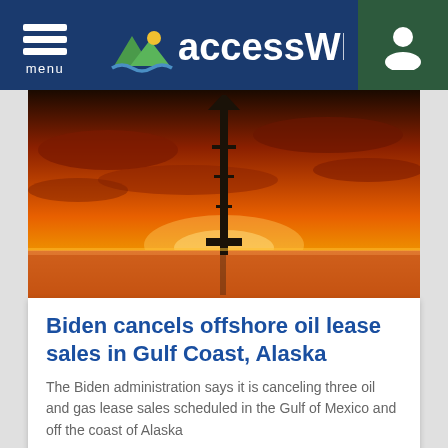accessWDUN — menu / user navigation bar
[Figure (photo): Silhouette of an oil drilling rig tower against a vivid orange and red sunset sky with dramatic clouds]
Biden cancels offshore oil lease sales in Gulf Coast, Alaska
The Biden administration says it is canceling three oil and gas lease sales scheduled in the Gulf of Mexico and off the coast of Alaska
By The Associated Press   12:35PM ( 37 minutes ago )